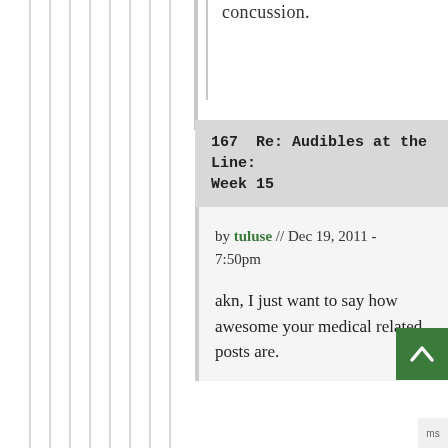concussion.
167  Re: Audibles at the Line: Week 15
by tuluse // Dec 19, 2011 - 7:50pm
akn, I just want to say how awesome your medical related posts are.